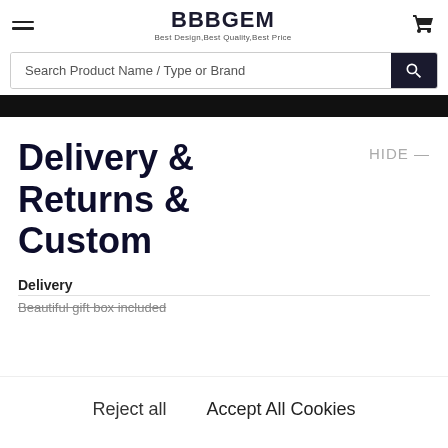BBBGEM — Best Design,Best Quality,Best Price
Search Product Name / Type or Brand
Delivery & Returns & Custom
HIDE —
Delivery
Beautiful gift box included
Reject all    Accept All Cookies